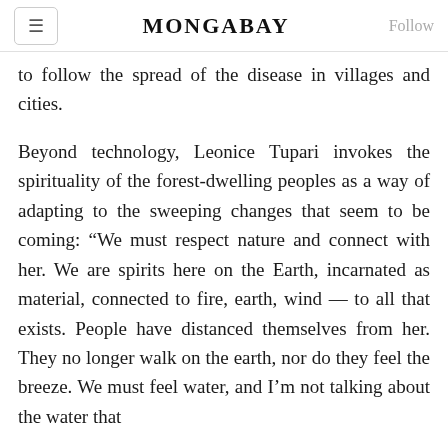MONGABAY
to follow the spread of the disease in villages and cities.
Beyond technology, Leonice Tupari invokes the spirituality of the forest-dwelling peoples as a way of adapting to the sweeping changes that seem to be coming: “We must respect nature and connect with her. We are spirits here on the Earth, incarnated as material, connected to fire, earth, wind — to all that exists. People have distanced themselves from her. They no longer walk on the earth, nor do they feel the breeze. We must feel water, and I’m not talking about the water that